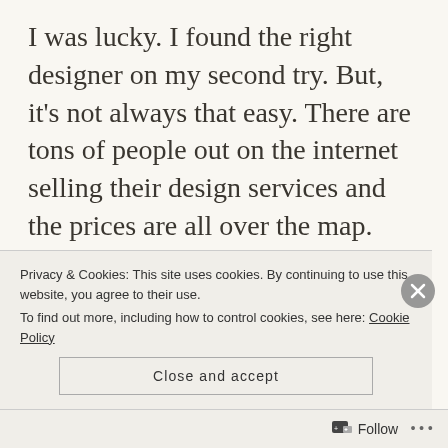I was lucky. I found the right designer on my second try. But, it's not always that easy. There are tons of people out on the internet selling their design services and the prices are all over the map. Trusting someone with your project can be scary. Partnering with someone who isn't as familiar with your project as you are and who works in a completely different medium and style of art than you do (visual verses written) can be tough. But, at some point in the writing process, you're likely
Privacy & Cookies: This site uses cookies. By continuing to use this website, you agree to their use.
To find out more, including how to control cookies, see here: Cookie Policy
Close and accept
Follow